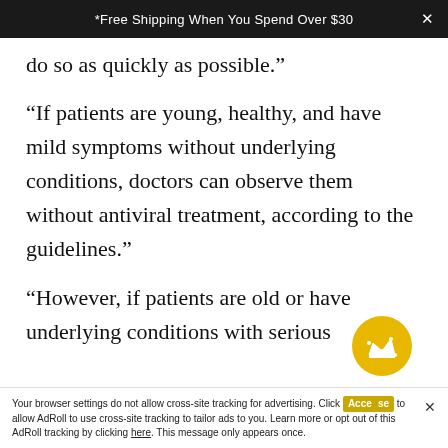*Free Shipping When You Spend Over $30
do so as quickly as possible.”
“If patients are young, healthy, and have mild symptoms without underlying conditions, doctors can observe them without antiviral treatment, according to the guidelines.”
“However, if patients are old or have underlying conditions with serious symptoms, physicians should
Your browser settings do not allow cross-site tracking for advertising. Click Accept to allow AdRoll to use cross-site tracking to tailor ads to you. Learn more or opt out of this AdRoll tracking by clicking here. This message only appears once.